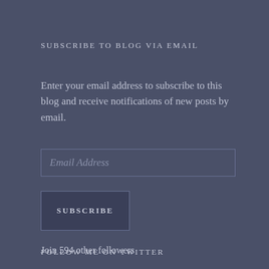SUBSCRIBE TO BLOG VIA EMAIL
Enter your email address to subscribe to this blog and receive notifications of new posts by email.
Email Address
SUBSCRIBE
Join 594 other followers
FOLLOW ME ON TWITTER